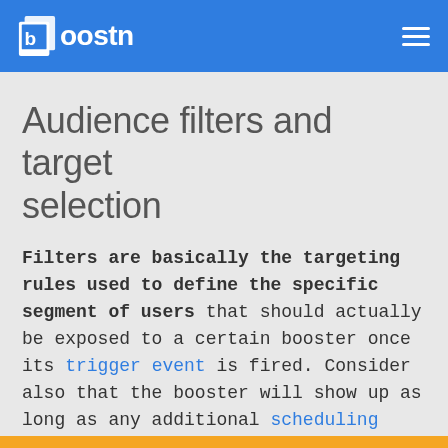boostn
Audience filters and target selection
Filters are basically the targeting rules used to define the specific segment of users that should actually be exposed to a certain booster once its trigger event is fired. Consider also that the booster will show up as long as any additional scheduling rules you may have set are also being matched.
Let's look at all the filters available with Boostn.